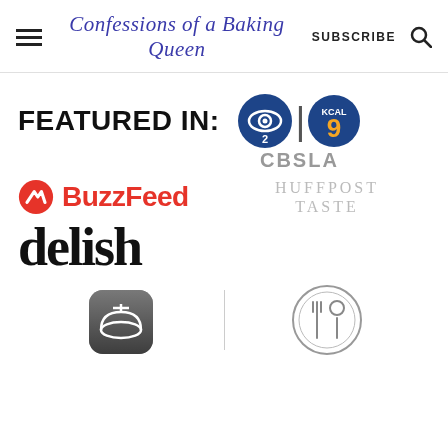Confessions of a Baking Queen — SUBSCRIBE
FEATURED IN:
[Figure (logo): CBS 2 KCAL 9 CBSLA logo]
[Figure (logo): BuzzFeed logo]
[Figure (logo): HuffPost Taste logo]
[Figure (logo): delish logo]
[Figure (logo): App icon (cooking app with bowl)]
[Figure (logo): Fork and spoon circle icon]